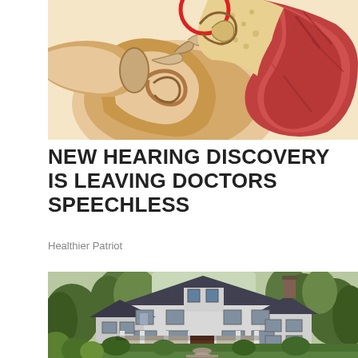[Figure (illustration): Cross-section anatomical illustration of a human ear with a red circle highlighting a specific part of the inner ear anatomy]
NEW HEARING DISCOVERY IS LEAVING DOCTORS SPEECHLESS
Healthier Patriot
[Figure (photo): Photo of a large two-story suburban house with a wrap-around porch, dark roof, surrounded by lush green trees and landscaped garden with a stone pathway leading to the front door]